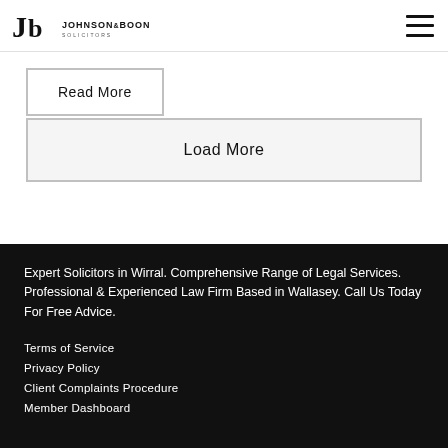Johnson & Boon Solicitors
Read More
Load More
Expert Solicitors in Wirral. Comprehensive Range of Legal Services. Professional & Experienced Law Firm Based in Wallasey. Call Us Today For Free Advice.
Terms of Service
Privacy Policy
Client Complaints Procedure
Member Dashboard